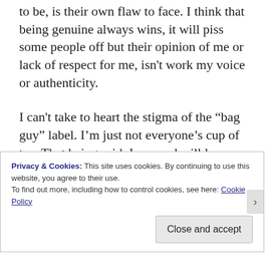to be, is their own flaw to face. I think that being genuine always wins, it will piss some people off but their opinion of me or lack of respect for me, isn't work my voice or authenticity.
I can't take to heart the stigma of the “bag guy” label. I’m just not everyone’s cup of tea. That being said, I can and will learn from my mistakes, I can and will improve as a person from those lessons learned. Most of all, I can and will apply those lessons learned and improvements to what I love
Privacy & Cookies: This site uses cookies. By continuing to use this website, you agree to their use.
To find out more, including how to control cookies, see here: Cookie Policy